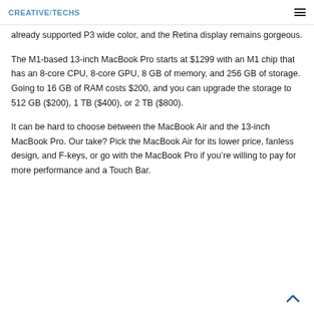CREATIVE/TECHS
already supported P3 wide color, and the Retina display remains gorgeous.
The M1-based 13-inch MacBook Pro starts at $1299 with an M1 chip that has an 8-core CPU, 8-core GPU, 8 GB of memory, and 256 GB of storage. Going to 16 GB of RAM costs $200, and you can upgrade the storage to 512 GB ($200), 1 TB ($400), or 2 TB ($800).
It can be hard to choose between the MacBook Air and the 13-inch MacBook Pro. Our take? Pick the MacBook Air for its lower price, fanless design, and F-keys, or go with the MacBook Pro if you’re willing to pay for more performance and a Touch Bar.